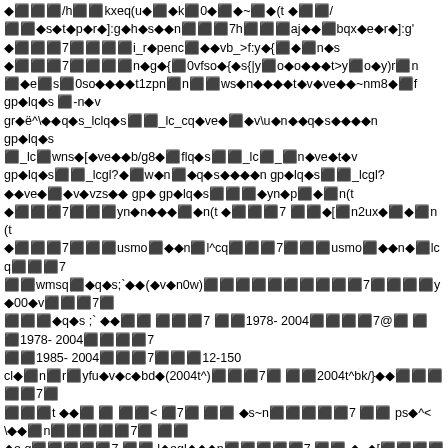◆⬛⬛⬛/h⬛⬛kxeq(u◆⬛◆k⬛0◆⬛◆~⬛◆(t ◆⬛⬛/
⬛⬛◆s◆t◆p◆r◆]:g◆h◆s◆◆n⬛⬛⬛7h⬛⬛⬛aj◆◆⬛bqx◆e◆r◆]:g'
◆⬛⬛⬛7⬛⬛⬛⬛i_r◆penc⬛◆◆vb_>f:y◆{⬛◆⬛n◆s
◆⬛⬛⬛7⬛⬛⬛⬛n◆g◆{⬛0vfso◆{◆s{|y⬛o◆o◆◆◆t>y⬛o◆y)r⬛n
⬛◆e⬛s⬛0so◆◆◆◆t1zpn⬛n⬛⬛ws◆n◆◆◆◆t◆v◆ve◆◆~nm8◆⬛f
gp◆lq◆s ⬛-n◆v
gr◆ë^\◆◆q◆s_lclq◆s⬛⬛_lc_cq◆ve◆⬛◆v\u◆n◆◆q◆s◆◆◆◆n
gp◆lq◆s
⬛_lc⬛wns◆[◆ve◆◆b/g8◆⬛flq◆s⬛⬛_lc⬛_⬛n◆ve◆t◆v
gp◆lq◆s⬛⬛_lcgl?◆⬛w◆n⬛◆q◆s◆◆◆◆n gp◆lq◆s⬛⬛_lcgl?
◆◆ve◆⬛◆v◆vzs◆◆ gp◆ gp◆lq◆s⬛⬛⬛◆yn◆p⬛◆⬛n(t
◆⬛⬛⬛7⬛⬛⬛yn◆n◆◆◆⬛◆n(t ◆⬛⬛⬛7 ⬛⬛◆[⬛n2ux◆⬛◆⬛n(t
◆⬛⬛⬛7⬛⬛⬛usmo⬛◆◆n⬛l^cq⬛⬛⬛7⬛⬛⬛usmo⬛◆◆n◆⬛lcq⬛⬛⬛7
⬛⬛wmsq⬛◆q◆s;`◆◆(◆v◆n0w)⬛⬛⬛⬛⬛⬛⬛⬛⬛⬛7⬛⬛⬛⬛y◆00◆v⬛⬛⬛7⬛
⬛⬛⬛◆q◆s ;` ◆◆⬛⬛ ⬛⬛⬛7 ⬛⬛1978- 2004⬛⬛⬛⬛7@⬛ ⬛⬛1978- 2004⬛⬛⬛⬛7
⬛⬛1985- 2004⬛⬛⬛7⬛⬛⬛12-150
cl◆⬛n⬛r⬛yfu◆v◆c◆bd◆(2004t^)⬛⬛⬛7⬛ ⬛⬛2004t^bk/}◆◆⬛⬛⬛⬛⬛7⬛
⬛⬛⬛t ◆◆⬛ ⬛ ⬛⬛< ⬛7⬛ ⬛⬛ ◆s~n⬛⬛⬛⬛⬛7 ⬛⬛ ps◆^<\◆◆⬛n⬛⬛⬛⬛⬛7⬛ ⬛⬛
◆e,g⬛⬛⬛⬛⬛7 ⬛⬛ l◆egl◆◆◆n⬛⬛⬛⬛⬛7 ⬛⬛ ◆_◆[⬛⬛⬛⬛⬛7 ⬛⬛
◆e◆raw⬛⬛⬛⬛⬛7⬛ ⬛⬛ ◆◆v⬛⬛⬛⬛⬛7⬛ ⬛⬛ ◆l◆v⬛⬛⬛⬛⬛7⬛ ⬛⬛
#◆k)r◆e⬛⬛⬛⬛⬛7⬛ ⬛⬛ 9n◆◆⬛⬛⬛⬛⬛7⬛ ⬛⬛ ◆◆v⬛⬛⬛⬛⬛7⬛ ⬛⬛
◆_◆v⬛⬛⬛⬛⬛7⬛ ⬛⬛ ◆l◆v⬛⬛⬛⬛⬛7 ⬛⬛ 1r⬛\pq⬛⬛⬛⬛⬛7 ⬛⬛ ⬛a'y)r⬛⬛⬛⬛⬛7 ⬛⬛
bs◆⬛h!x⬛⬛⬛⬛⬛7⬛ ⬛⬛ w◆pq⬛⬛⬛⬛⬛7⬛ ⬛⬛ ^j◆⬛⬛⬛⬛⬛7 ⬛⬛ a◆⬛l◆yr⬛⬛⬛⬛⬛7 ⬛⬛
⬛◆◆⬛syr⬛⬛⬛⬛⬛7⬛ ⬛⬛ ◆◆⬛pq⬛⬛⬛⬛⬛7 ⬛⬛ ^t◆⬛x⬛⬛⬛⬛⬛7⬛ ⬛⬛